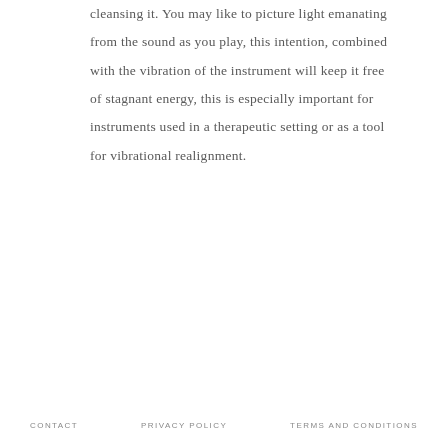cleansing it. You may like to picture light emanating from the sound as you play, this intention, combined with the vibration of the instrument will keep it free of stagnant energy, this is especially important for instruments used in a therapeutic setting or as a tool for vibrational realignment.
CONTACT   PRIVACY POLICY   TERMS AND CONDITIONS